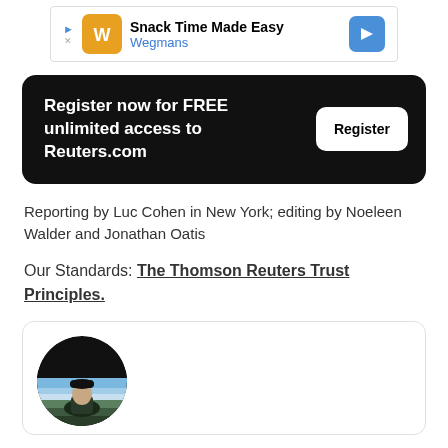[Figure (other): Wegmans advertisement banner: 'Snack Time Made Easy / Wegmans' with Wegmans logo and a blue direction arrow icon]
Register now for FREE unlimited access to Reuters.com
Reporting by Luc Cohen in New York; editing by Noeleen Walder and Jonathan Oatis
Our Standards: The Thomson Reuters Trust Principles.
[Figure (photo): Circular author profile photo of a person wearing a cap, with a mountain landscape background]